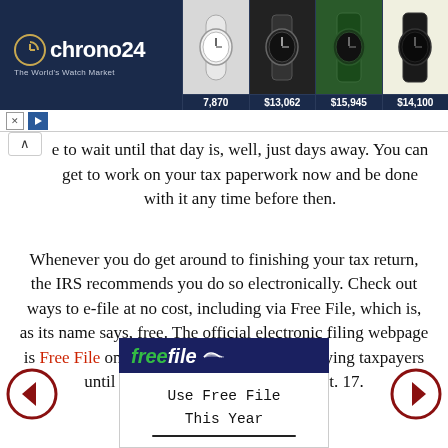[Figure (screenshot): Chrono24 watch advertisement banner showing logo and watch images with prices: 7,870, $13,062, $15,945, $14,100]
e to wait until that day is, well, just days away. You can get to work on your tax paperwork now and be done with it any time before then.
Whenever you do get around to finishing your tax return, the IRS recommends you do so electronically. Check out ways to e-file at no cost, including via Free File, which is, as its name says, free. The official electronic filing webpage is Free File on IRS.gov is available to qualifying taxpayers until midnight, Eastern Time, on Oct. 17.
[Figure (screenshot): IRS Free File promotional image showing 'freefile' logo in green and white on dark blue background, with handwritten text 'Use Free File This Year' below]